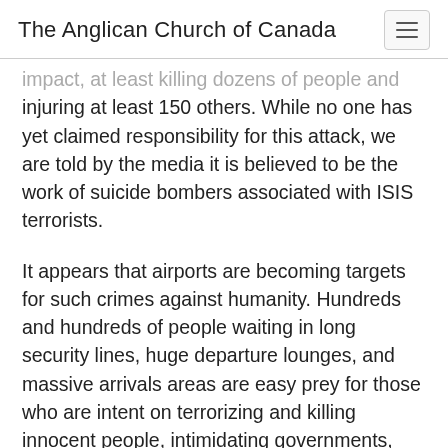The Anglican Church of Canada
…impact, at least killing dozens of people and injuring at least 150 others. While no one has yet claimed responsibility for this attack, we are told by the media it is believed to be the work of suicide bombers associated with ISIS terrorists.
It appears that airports are becoming targets for such crimes against humanity. Hundreds and hundreds of people waiting in long security lines, huge departure lounges, and massive arrivals areas are easy prey for those who are intent on terrorizing and killing innocent people, intimidating governments, and threatening world